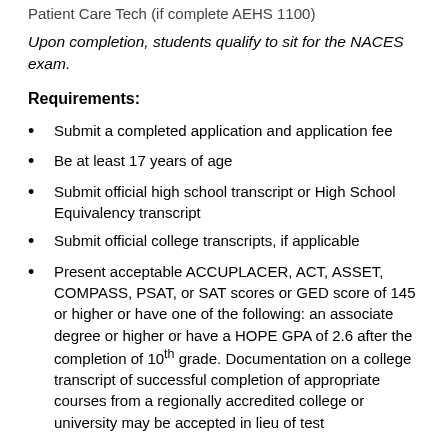Patient Care Tech (if complete AEHS 1100)
Upon completion, students qualify to sit for the NACES exam.
Requirements:
Submit a completed application and application fee
Be at least 17 years of age
Submit official high school transcript or High School Equivalency transcript
Submit official college transcripts, if applicable
Present acceptable ACCUPLACER, ACT, ASSET, COMPASS, PSAT, or SAT scores or GED score of 145 or higher or have one of the following: an associate degree or higher or have a HOPE GPA of 2.6 after the completion of 10th grade. Documentation on a college transcript of successful completion of appropriate courses from a regionally accredited college or university may be accepted in lieu of test